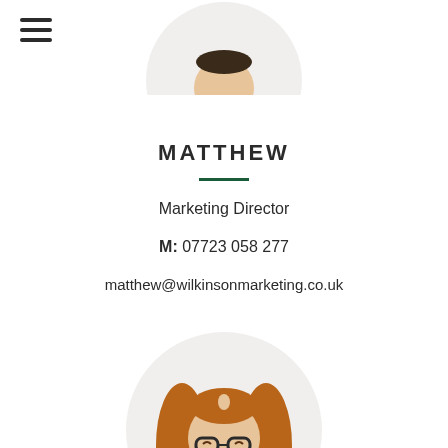[Figure (illustration): Hamburger menu icon (three horizontal lines) in top left corner]
[Figure (illustration): Partial circular avatar of a male person with teal/green shirt, cropped at top]
MATTHEW
Marketing Director
M: 07723 058 277
matthew@wilkinsonmarketing.co.uk
[Figure (illustration): Circular avatar of a woman with brown hair, glasses, smiling, wearing dark top]